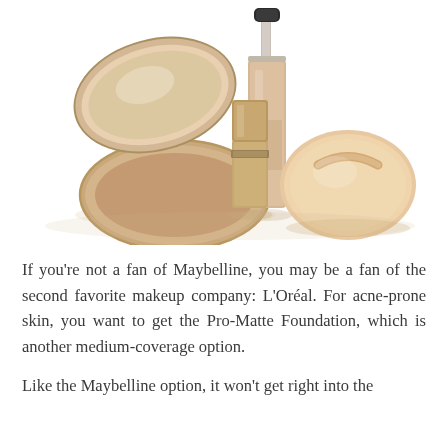[Figure (photo): Photo of makeup/foundation products: a compact powder with open lid, a lipstick, a liquid foundation bottle with pump, and a powder puff applicator, all in beige/nude tones on white background.]
If you're not a fan of Maybelline, you may be a fan of the second favorite makeup company: L'Oréal. For acne-prone skin, you want to get the Pro-Matte Foundation, which is another medium-coverage option.
Like the Maybelline option, it won't get right into the